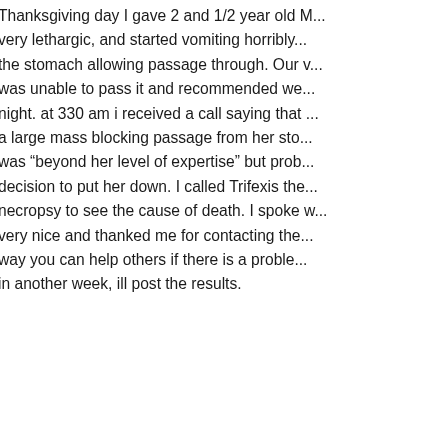Thanksgiving day I gave 2 and 1/2 year old M... very lethargic, and started vomiting horribly... the stomach allowing passage through. Our v... was unable to pass it and recommended we... night. at 330 am i received a call saying that... a large mass blocking passage from her sto... was “beyond her level of expertise” but prob... decision to put her down. I called Trifexis the... necropsy to see the cause of death. I spoke w... very nice and thanked me for contacting the... way you can help others if there is a proble... in another week, ill post the results.
Dece...
chris gray says:
We got Molly’s necropsy results ba...